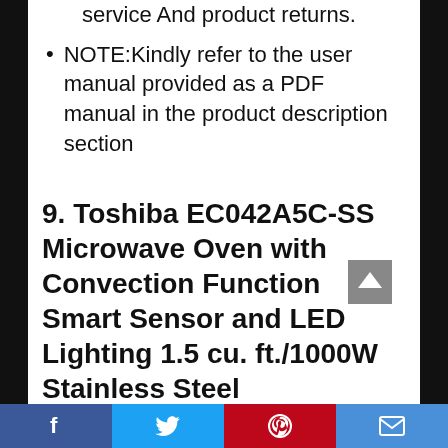service And product returns.
NOTE:Kindly refer to the user manual provided as a PDF manual in the product description section
9. Toshiba EC042A5C-SS Microwave Oven with Convection Function Smart Sensor and LED Lighting 1.5 cu. ft./1000W Stainless Steel
Facebook | Twitter | Pinterest | Email